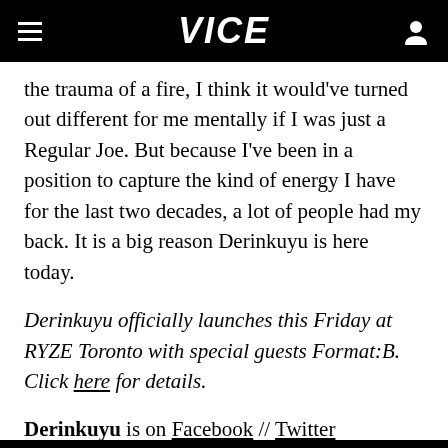VICE
the trauma of a fire, I think it would've turned out different for me mentally if I was just a Regular Joe. But because I've been in a position to capture the kind of energy I have for the last two decades, a lot of people had my back. It is a big reason Derinkuyu is here today.
Derinkuyu officially launches this Friday at RYZE Toronto with special guests Format:B. Click here for details.
Derinkuyu is on Facebook // Twitter